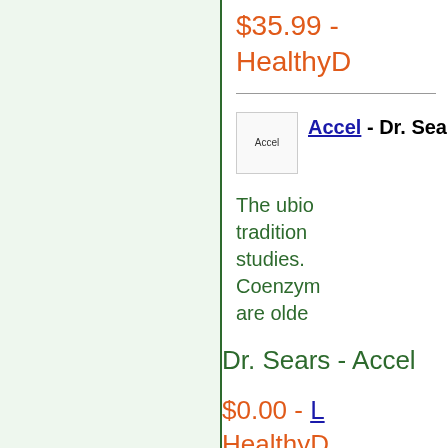$35.99 - HealthyD
[Figure (other): Accel product thumbnail image placeholder]
Accel - Dr. Sea
The ubio tradition studies. Coenzym are olde
Dr. Sears - Accel
$0.00 - L HealthyD